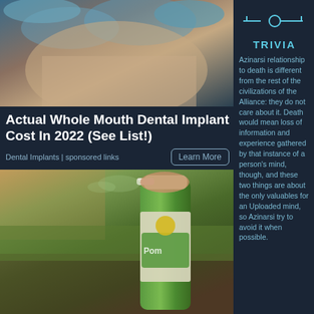[Figure (photo): Photo of dental implant procedure showing gloved hands near a patient's mouth]
Actual Whole Mouth Dental Implant Cost In 2022 (See List!)
Dental Implants | sponsored links
[Figure (photo): Photo of a hand spraying a green aerosol can (Raid or pest control spray)]
Odd Trick To Decimate Roaches (You'll Wish You Saw It Sooner)
TRIVIA
Azinarsi relationship to death is different from the rest of the civilizations of the Alliance: they do not care about it. Death would mean loss of information and experience gathered by that instance of a person's mind, though, and these two things are about the only valuables for an Uploaded mind, so Azinarsi try to avoid it when possible.